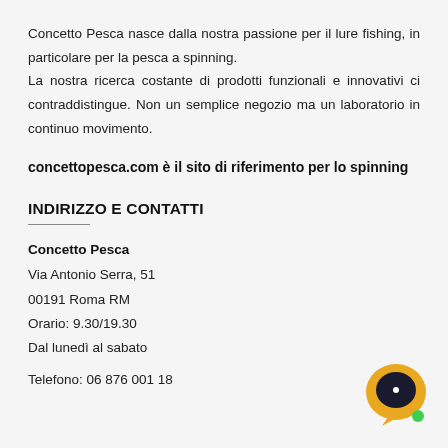Concetto Pesca nasce dalla nostra passione per il lure fishing, in particolare per la pesca a spinning.
La nostra ricerca costante di prodotti funzionali e innovativi ci contraddistingue. Non un semplice negozio ma un laboratorio in continuo movimento.
concettopesca.com è il sito di riferimento per lo spinning
INDIRIZZO E CONTATTI
Concetto Pesca
Via Antonio Serra, 51
00191 Roma RM
Orario: 9.30/19.30
Dal lunedì al sabato
Telefono: 06 876 001 18